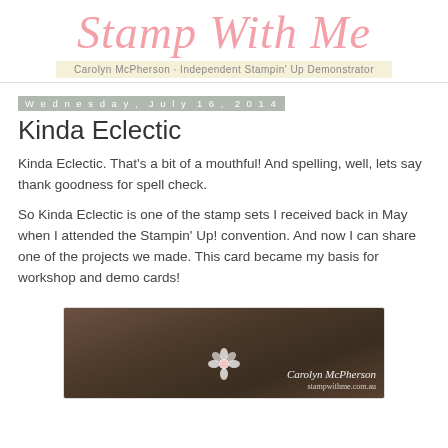[Figure (logo): Stamp With Me blog logo in pink cursive script with subtitle 'Carolyn McPherson · Independent Stampin' Up Demonstrator' on a pale yellow bar]
Wednesday, July 16, 2014
Kinda Eclectic
Kinda Eclectic.  That's a bit of a mouthful!  And spelling, well, lets say thank goodness for spell check.
So Kinda Eclectic is one of the stamp sets I received back in May when I attended the Stampin' Up! convention.  And now I can share one of the projects we made. This card became my basis for workshop and demo cards!
[Figure (photo): Photo of a dark brown/chocolate colored fabric or ribbon with a white flower embellishment and Carolyn McPherson watermark text]